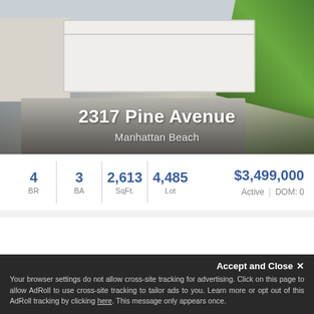[Figure (photo): Exterior photo of a house with a large white garage door and driveway, suburban residential property]
2317 Pine Avenue
Manhattan Beach
| BR | BA | SqFt. | Lot | Price | Status | DOM |
| --- | --- | --- | --- | --- | --- | --- |
| 4 | 3 | 2,613 | 4,485 | $3,499,000 | Active | DOM: 0 |
[Figure (photo): Second property photo showing architectural detail, outdoor area with wood furniture and stone wall]
Accept and Close ×
Your browser settings do not allow cross-site tracking for advertising. Click on this page to allow AdRoll to use cross-site tracking to tailor ads to you. Learn more or opt out of this AdRoll tracking by clicking here. This message only appears once.